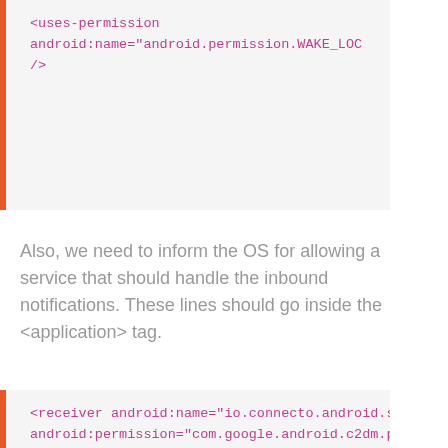[Figure (screenshot): Code block showing XML uses-permission tag with android:name android.permission.WAKE_LOCK and closing />]
Also, we need to inform the OS for allowing a service that should handle the inbound notifications. These lines should go inside the <application> tag.
[Figure (screenshot): Code block showing XML receiver element with android:name io.connecto.android.so... android:permission com.google.android.c2dm.p... > with intent-filter, comment Receives the actual messages. ->, action element, android:name com.google.android.c2dm.int...]